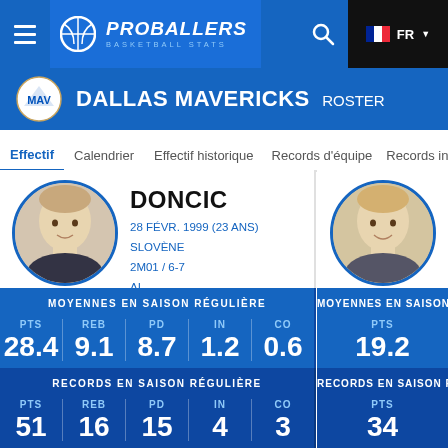PROBALLERS BASKETBALL STATS — Navigation bar with FR language toggle
DALLAS MAVERICKS ROSTER
Effectif
Calendrier
Effectif historique
Records d'équipe
Records individ…
DONCIC
28 FÉVR. 1999 (23 ANS)
SLOVÈNE
2M01 / 6-7
AI
MOYENNES EN SAISON RÉGULIÈRE
PTS 28.4  REB 9.1  PD 8.7  IN 1.2  CO 0.6
RECORDS EN SAISON RÉGULIÈRE
PTS 51  REB 16  PD 15  IN 4  CO 3
PTS 19.2 (partial peek)
PTS 34 (partial peek)